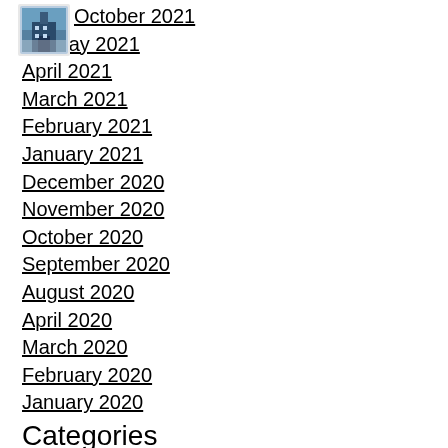[Figure (logo): Small logo image overlapping with October 2021 link]
October 2021
May 2021
April 2021
March 2021
February 2021
January 2021
December 2020
November 2020
October 2020
September 2020
August 2020
April 2020
March 2020
February 2020
January 2020
Categories
[Figure (screenshot): Enhanced by Google search bar with search button]
RSS Feed